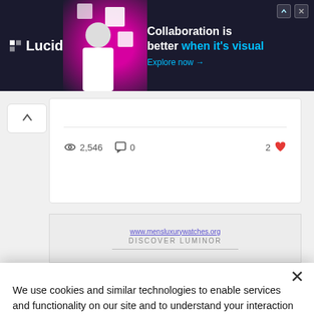[Figure (screenshot): Lucid advertisement banner with dark background, logo, person illustration and text: 'Collaboration is better when it's visual. Explore now →']
[Figure (screenshot): Post card showing view count 2,546, comment count 0, and 2 heart likes]
[Figure (screenshot): Secondary advertisement card showing www.mensluxurywatches.org and DISCOVER LUMINOR text]
We use cookies and similar technologies to enable services and functionality on our site and to understand your interaction with our service. By clicking on accept, you agree to our use of such technologies for marketing and analytics. See Privacy Policy
Decline All
Accept
Cookie Settings